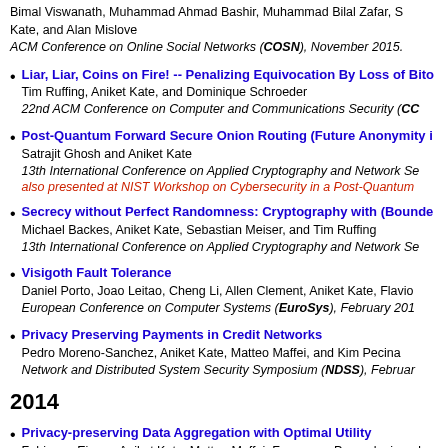Bimal Viswanath, Muhammad Ahmad Bashir, Muhammad Bilal Zafar, S Kate, and Alan Mislove
ACM Conference on Online Social Networks (COSN), November 2015.
Liar, Liar, Coins on Fire! -- Penalizing Equivocation By Loss of Bitc
Tim Ruffing, Aniket Kate, and Dominique Schroeder
22nd ACM Conference on Computer and Communications Security (CC
Post-Quantum Forward Secure Onion Routing (Future Anonymity i
Satrajit Ghosh and Aniket Kate
13th International Conference on Applied Cryptography and Network Se
also presented at NIST Workshop on Cybersecurity in a Post-Quantum
Secrecy without Perfect Randomness: Cryptography with (Bounde
Michael Backes, Aniket Kate, Sebastian Meiser, and Tim Ruffing
13th International Conference on Applied Cryptography and Network Se
Visigoth Fault Tolerance
Daniel Porto, Joao Leitao, Cheng Li, Allen Clement, Aniket Kate, Flavio
European Conference on Computer Systems (EuroSys), February 201
Privacy Preserving Payments in Credit Networks
Pedro Moreno-Sanchez, Aniket Kate, Matteo Maffei, and Kim Pecina
Network and Distributed System Security Symposium (NDSS), Februar
2014
Privacy-preserving Data Aggregation with Optimal Utility
Fabienne Eigner, Aniket Kate, Matteo Maffei, Francesca Pampaloni, an
Annual Computer Security Applications Conference (ACSAC), Decemb